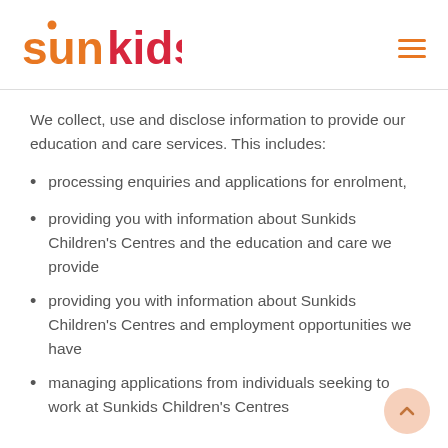[Figure (logo): Sunkids logo: orange 'sun' text with a dot above the 'u', red 'kids' text]
We collect, use and disclose information to provide our education and care services. This includes:
processing enquiries and applications for enrolment,
providing you with information about Sunkids Children's Centres and the education and care we provide
providing you with information about Sunkids Children's Centres and employment opportunities we have
managing applications from individuals seeking to work at Sunkids Children's Centres